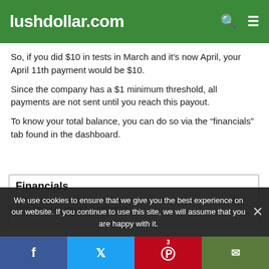lushdollar.com
So, if you did $10 in tests in March and it's now April, your April 11th payment would be $10.
Since the company has a $1 minimum threshold, all payments are not sent until you reach this payout.
To know your total balance, you can do so via the “financials” tab found in the dashboard.
[Figure (screenshot): Screenshot of a 'Financials' section UI showing the title 'Financials' and text: Here’s where you can find all of your earnings for helping make the web a better place. Hope you enjoy a few cups of coffee on us!]
We use cookies to ensure that we give you the best experience on our website. If you continue to use this site, we will assume that you are happy with it.
Facebook | Twitter | Pinterest (3) | Email